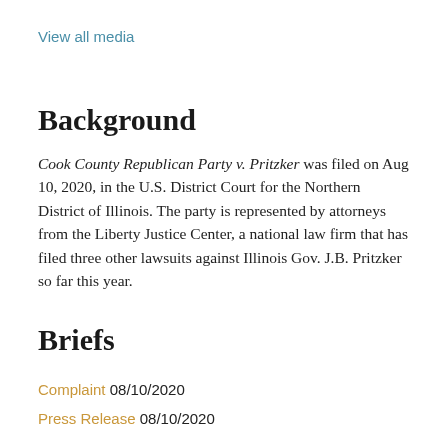View all media
Background
Cook County Republican Party v. Pritzker was filed on Aug 10, 2020, in the U.S. District Court for the Northern District of Illinois. The party is represented by attorneys from the Liberty Justice Center, a national law firm that has filed three other lawsuits against Illinois Gov. J.B. Pritzker so far this year.
Briefs
Complaint 08/10/2020
Press Release 08/10/2020